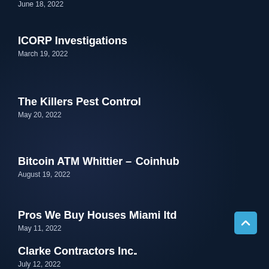June 18, 2022
ICORP Investigations
March 19, 2022
The Killers Pest Control
May 20, 2022
Bitcoin ATM Whittier – Coinhub
August 19, 2022
Pros We Buy Houses Miami ltd
May 11, 2022
Clarke Contractors Inc.
July 12, 2022